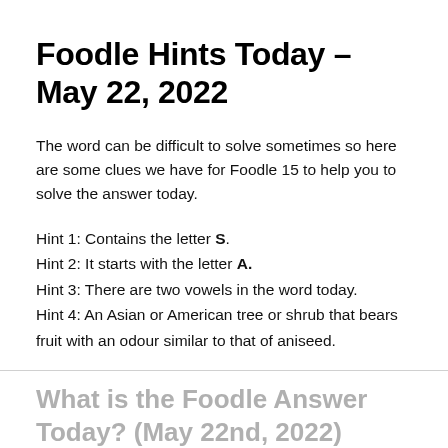Foodle Hints Today – May 22, 2022
The word can be difficult to solve sometimes so here are some clues we have for Foodle 15 to help you to solve the answer today.
Hint 1: Contains the letter S.
Hint 2: It starts with the letter A.
Hint 3: There are two vowels in the word today.
Hint 4: An Asian or American tree or shrub that bears fruit with an odour similar to that of aniseed.
What is the Foodle Answer Today? (May 22nd, 2022)